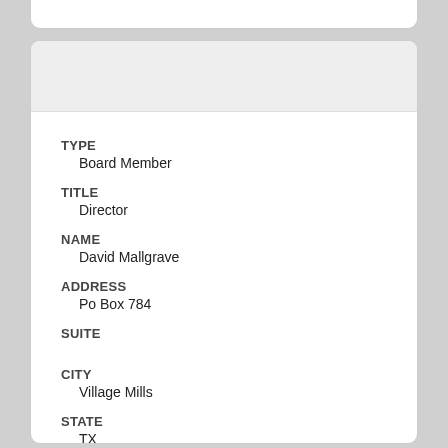TYPE
Board Member
TITLE
Director
NAME
David Mallgrave
ADDRESS
Po Box 784
SUITE
CITY
Village Mills
STATE
TX